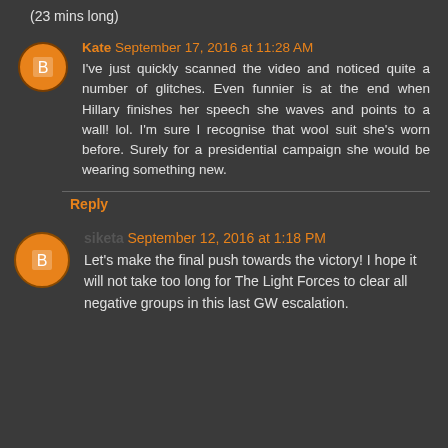(23 mins long)
Kate September 17, 2016 at 11:28 AM
I've just quickly scanned the video and noticed quite a number of glitches. Even funnier is at the end when Hillary finishes her speech she waves and points to a wall! lol. I'm sure I recognise that wool suit she's worn before. Surely for a presidential campaign she would be wearing something new.
Reply
siketa September 12, 2016 at 1:18 PM
Let's make the final push towards the victory! I hope it will not take too long for The Light Forces to clear all negative groups in this last GW escalation.